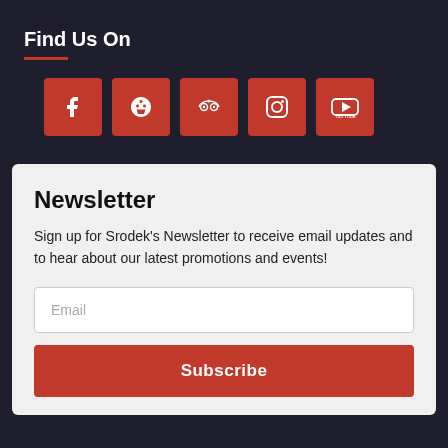Find Us On
[Figure (infographic): Five red square social media icons in a row: Facebook (f), Yelp (flower/star), TripAdvisor (owl face), Instagram (circle camera), YouTube (play button with 'You Tube' text)]
Newsletter
Sign up for Srodek's Newsletter to receive email updates and to hear about our latest promotions and events!
Email
Subscribe